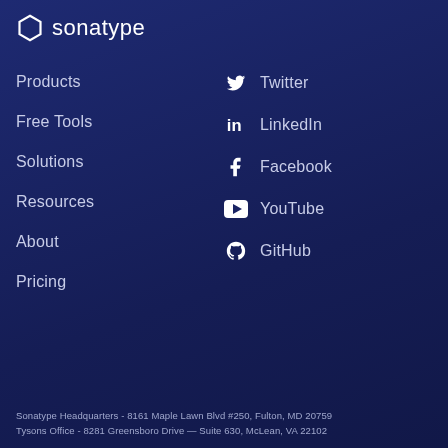[Figure (logo): Sonatype logo with hexagon icon and wordmark in white on dark blue background]
Products
Free Tools
Solutions
Resources
About
Pricing
Twitter
LinkedIn
Facebook
YouTube
GitHub
Sonatype Headquarters - 8161 Maple Lawn Blvd #250, Fulton, MD 20759
Tysons Office - 8281 Greensboro Drive — Suite 630, McLean, VA 22102